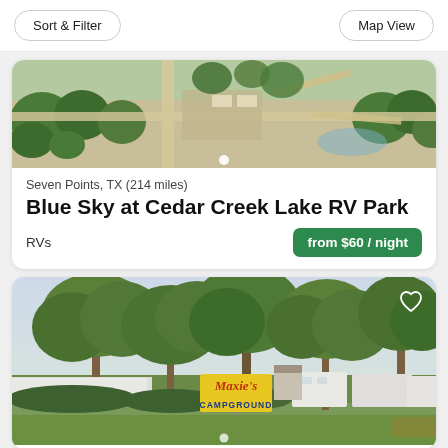Sort & Filter | Map View
[Figure (photo): Aerial drone view of Blue Sky at Cedar Creek Lake RV Park showing roads, trees, and park layout]
Seven Points, TX (214 miles)
Blue Sky at Cedar Creek Lake RV Park
RVs
from $60 / night
[Figure (photo): Ground-level photo of Maxie's Campground entrance with yellow sign, large trees, RVs parked in background]